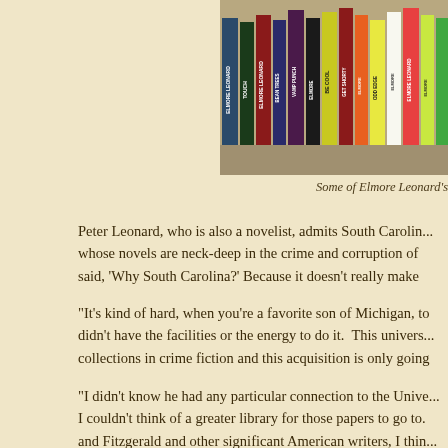[Figure (photo): A row of Elmore Leonard's books standing upright on a shelf, showing their colorful spines with titles visible.]
Some of Elmore Leonard's
Peter Leonard, who is also a novelist, admits South Carolin... whose novels are neck-deep in the crime and corruption of said, 'Why South Carolina?' Because it doesn't really make
"It's kind of hard, when you're a favorite son of Michigan, to didn't have the facilities or the energy to do it.  This univers collections in crime fiction and this acquisition is only going
"I didn't know he had any particular connection to the Unive... I couldn't think of a greater library for those papers to go to. and Fitzgerald and other significant American writers, I thin